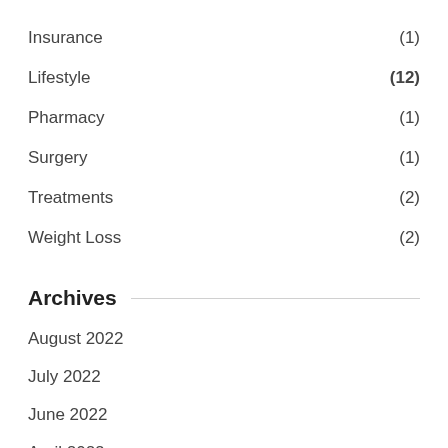Insurance (1)
Lifestyle (12)
Pharmacy (1)
Surgery (1)
Treatments (2)
Weight Loss (2)
Archives
August 2022
July 2022
June 2022
April 2022
March 2022